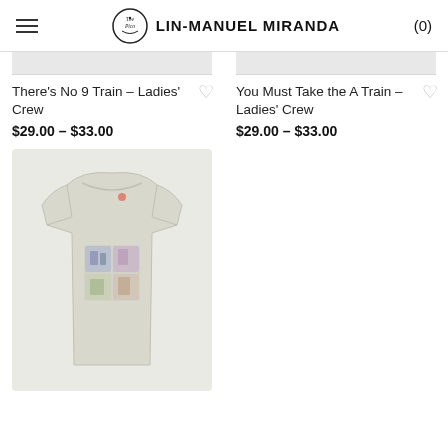LIN-MANUEL MIRANDA
There's No 9 Train – Ladies' Crew
$29.00 – $33.00
You Must Take the A Train – Ladies' Crew
$29.00 – $33.00
[Figure (photo): Light grey ladies' crew neck t-shirt with colorful graphic print on the chest area]